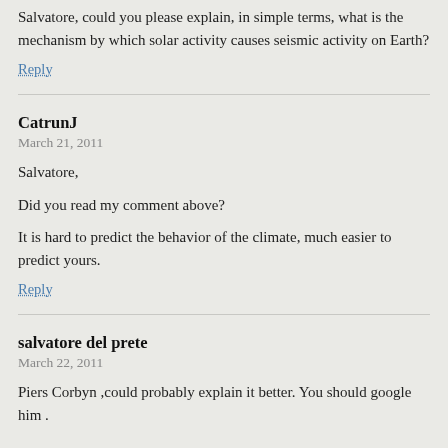Salvatore, could you please explain, in simple terms, what is the mechanism by which solar activity causes seismic activity on Earth?
Reply
CatrunJ
March 21, 2011
Salvatore,
Did you read my comment above?
It is hard to predict the behavior of the climate, much easier to predict yours.
Reply
salvatore del prete
March 22, 2011
Piers Corbyn ,could probably explain it better. You should google him .